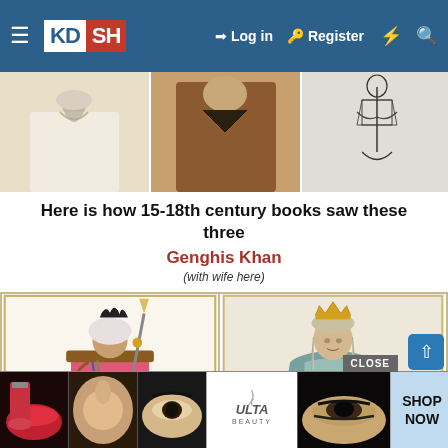KDSH — Log in  Register
[Figure (photo): Three cropped historical portrait images shown side by side: left shows a robed figure with grey beard, center shows a dark-robed figure, right shows a black-and-white sketch of a seated figure]
Here is how 15-18th century books saw these three
Genghis Khan
(with wife here)
[Figure (illustration): Two historical book illustrations side by side: left shows a colorful warrior in pink robes with turban holding a spear and bow; right shows a woman in blue-green robes wearing a crown]
[Figure (photo): Advertisement banner showing makeup cosmetics images, ULTA Beauty logo, and SHOP NOW button with CLOSE label]